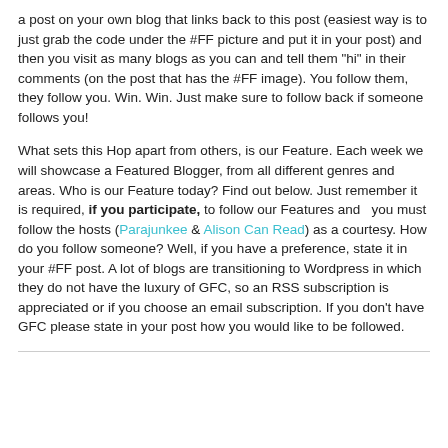a post on your own blog that links back to this post (easiest way is to just grab the code under the #FF picture and put it in your post) and then you visit as many blogs as you can and tell them "hi" in their comments (on the post that has the #FF image). You follow them, they follow you. Win. Win. Just make sure to follow back if someone follows you!
What sets this Hop apart from others, is our Feature. Each week we will showcase a Featured Blogger, from all different genres and areas. Who is our Feature today? Find out below. Just remember it is required, if you participate, to follow our Features and   you must follow the hosts (Parajunkee & Alison Can Read) as a courtesy. How do you follow someone? Well, if you have a preference, state it in your #FF post. A lot of blogs are transitioning to Wordpress in which they do not have the luxury of GFC, so an RSS subscription is appreciated or if you choose an email subscription. If you don't have GFC please state in your post how you would like to be followed.